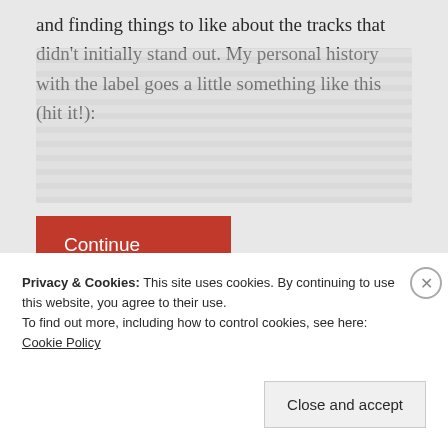and finding things to like about the tracks that didn't initially stand out. My personal history with the label goes a little something like this (hit it!):
[Figure (other): Blurred/redacted content area representing hidden article text behind a paywall or truncated preview]
Continue reading
Privacy & Cookies: This site uses cookies. By continuing to use this website, you agree to their use.
To find out more, including how to control cookies, see here: Cookie Policy
Close and accept